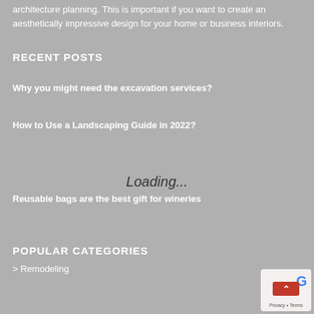architecture planning. This is important if you want to create an aesthetically impressive design for your home or business interiors.
RECENT POSTS
Why you might need the excavation services?
How to Use a Landscaping Guide in 2022?
Loading...
Reusable bags are the best gift for wineries
POPULAR CATEGORIES
> Remodeling